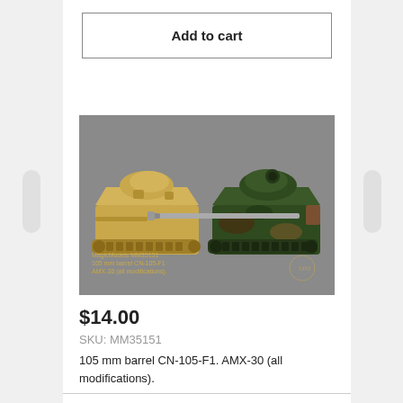Add to cart
[Figure (photo): Two scale model tanks side by side on a grey background. Left tank is desert sand colored, right tank is camouflage green/brown. Watermark text reads: MagicModels MM35151, 105 mm barrel CN-105-F1, AMX-30 (all modifications).]
$14.00
SKU: MM35151
105 mm barrel CN-105-F1. AMX-30 (all modifications).